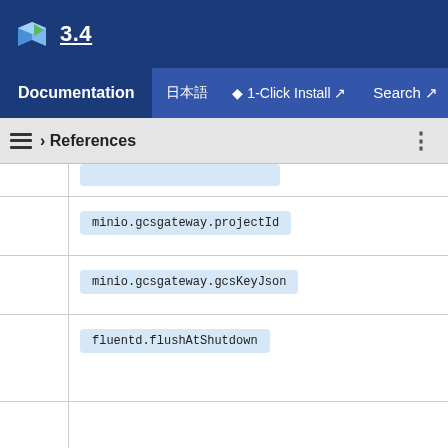3.4
Documentation | 日本語 | ⬦ 1-Click Install ↗ | Search ↗
› References
minio.gcsgateway.projectId
minio.gcsgateway.gcsKeyJson
fluentd.flushAtShutdown
fluentd.flushInterval
fluentd.chunkLimitSize